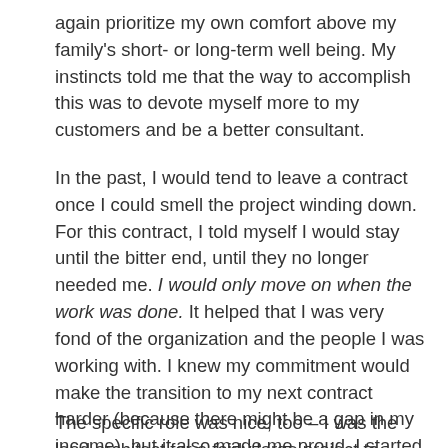again prioritize my own comfort above my family's short- or long-term well being. My instincts told me that the way to accomplish this was to devote myself more to my customers and be a better consultant.
In the past, I would tend to leave a contract once I could smell the project winding down. For this contract, I told myself I would stay until the bitter end, until they no longer needed me. I would only move on when the work was done. It helped that I was very fond of the organization and the people I was working with. I knew my commitment would make the transition to my next contract harder (because there might be a gap in my income), but it also made me proud. I started carrying myself differently, as I focused more on my customer and what I could do for them, not just what I got out of it.
The specific role was nice, too – I was the lead architect for a fairly large project to rewrite their grants management